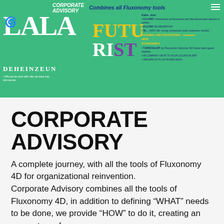[Figure (infographic): Green banner showing Corporate Advisory / Combines all Fluxonomy tools header with LALA DEHEINZEUN branding, FUTURIST text in yellow/white/purple, and bullet list of services on teal/green background.]
CORPORATE ADVISORY
A complete journey, with all the tools of Fluxonomy 4D for organizational reinvention.
Corporate Advisory combines all the tools of Fluxonomy 4D, in addition to defining “WHAT” needs to be done, we provide “HOW” to do it, creating an ecosystem of